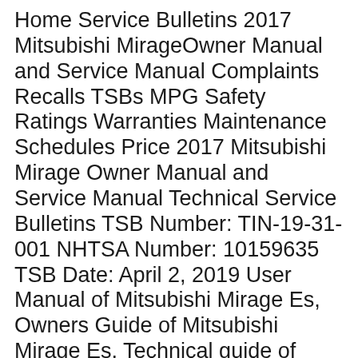Home Service Bulletins 2017 Mitsubishi MirageOwner Manual and Service Manual Complaints Recalls TSBs MPG Safety Ratings Warranties Maintenance Schedules Price 2017 Mitsubishi Mirage Owner Manual and Service Manual Technical Service Bulletins TSB Number: TIN-19-31-001 NHTSA Number: 10159635 TSB Date: April 2, 2019 User Manual of Mitsubishi Mirage Es, Owners Guide of Mitsubishi Mirage Es, Technical guide of Mitsubishi Mirage Es Subscribe to Latest Cars Updates and News by Email Toggle navigation
Protect your investment with regular servicing and maintenance of your Mitsubishi in accordance with your